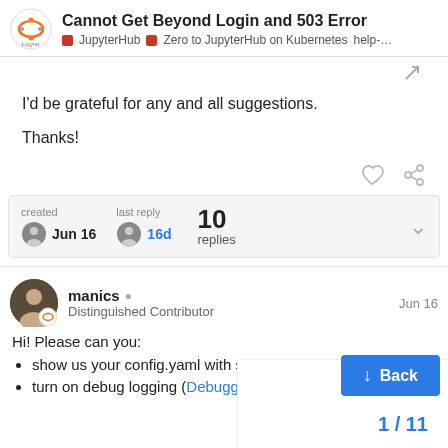Cannot Get Beyond Login and 503 Error — JupyterHub · Zero to JupyterHub on Kubernetes · help-…
I'd be grateful for any and all suggestions.

Thanks!
created Jun 16 · last reply 16d · 10 replies
manics · Distinguished Contributor · Jun 16
Hi! Please can you:
show us your config.yaml with secret…
turn on debug logging (Debugging —…